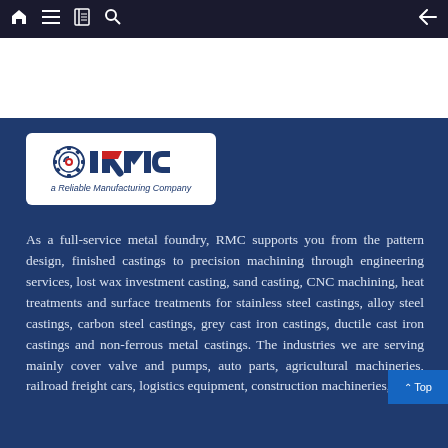Navigation bar with home, menu, book, search icons and back arrow
[Figure (logo): RMC logo — gear icon with red dot, bold blue letters 'RMC' with red triangle accent, tagline 'a Reliable Manufacturing Company']
As a full-service metal foundry, RMC supports you from the pattern design, finished castings to precision machining through engineering services, lost wax investment casting, sand casting, CNC machining, heat treatments and surface treatments for stainless steel castings, alloy steel castings, carbon steel castings, grey cast iron castings, ductile cast iron castings and non-ferrous metal castings. The industries we are serving mainly cover valve and pumps, auto parts, agricultural machineries, railroad freight cars, logistics equipment, construction machineries, etc.